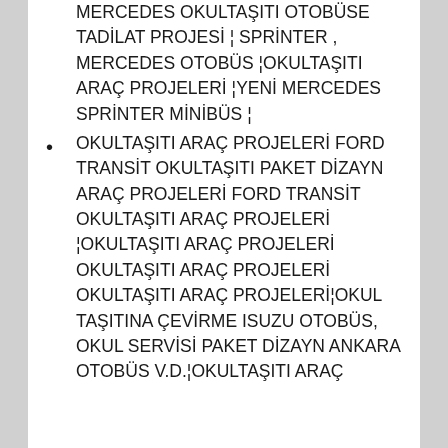MERCEDES OKULTAŞITI OTOBÜSE TADİLAT PROJESİ ¦ SPRİNTER , MERCEDES OTOBÜS ¦OKULTAŞITI ARAÇ PROJELERİ ¦YENİ MERCEDES SPRİNTER MİNİBÜS ¦
OKULTAŞITI ARAÇ PROJELERİ FORD TRANSİT OKULTAŞITI PAKET DİZAYN ARAÇ PROJELERİ FORD TRANSİT OKULTAŞITI ARAÇ PROJELERİ ¦OKULTAŞITI ARAÇ PROJELERİ OKULTAŞITI ARAÇ PROJELERİ OKULTAŞITI ARAÇ PROJELERİ¦OKUL TAŞITINA ÇEVİRME ISUZU OTOBÜS, OKUL SERVİSİ PAKET DİZAYN ANKARA OTOBÜS V.D.¦OKULTAŞITI ARAÇ